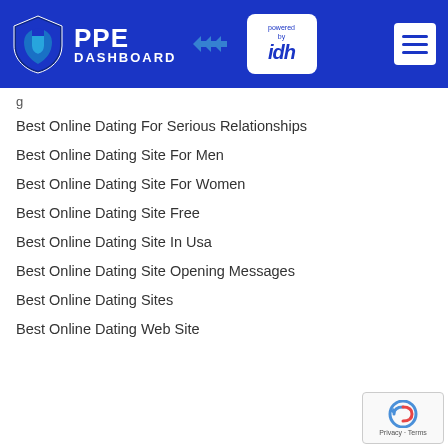PPE DASHBOARD powered by idh
Best Online Dating For Serious Relationships
Best Online Dating Site For Men
Best Online Dating Site For Women
Best Online Dating Site Free
Best Online Dating Site In Usa
Best Online Dating Site Opening Messages
Best Online Dating Sites
Best Online Dating Web Site